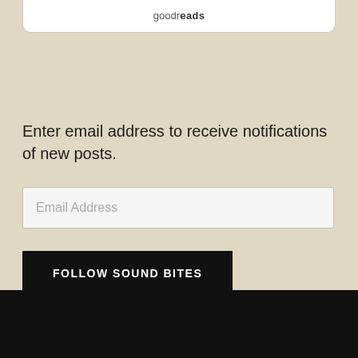[Figure (screenshot): Partial white card with goodreads logo/text at top of page]
Enter email address to receive notifications of new posts.
Email Address
FOLLOW SOUND BITES
Join 4,136 other followers